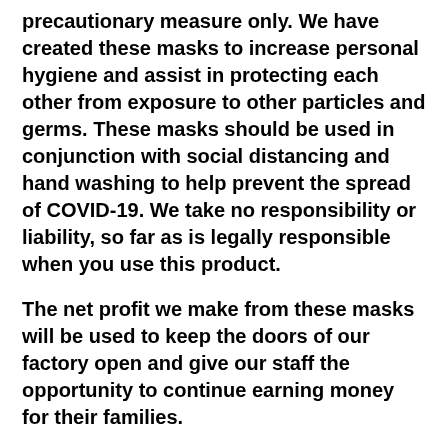precautionary measure only. We have created these masks to increase personal hygiene and assist in protecting each other from exposure to other particles and germs. These masks should be used in conjunction with social distancing and hand washing to help prevent the spread of COVID-19. We take no responsibility or liability, so far as is legally responsible when you use this product.
The net profit we make from these masks will be used to keep the doors of our factory open and give our staff the opportunity to continue earning money for their families.
*ALL SALES OF MASKS ARE FINAL. NO RETURNS OR EXCHANGES, NO EXCEPTIONS FOR OBVIOUS REASONS.